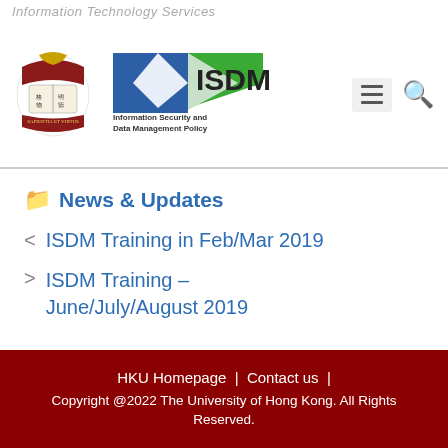Information Technology Services
[Figure (logo): HKU crest logo and ISDM Information Security and Data Management Policy logo with hamburger menu icon and search icon]
News & Updates
ISDM Training in Feb/Mar 2019
ISDM Training – June/July/August 2019
HKU Homepage | Contact us | Copyright @2022 The University of Hong Kong. All Rights Reserved.